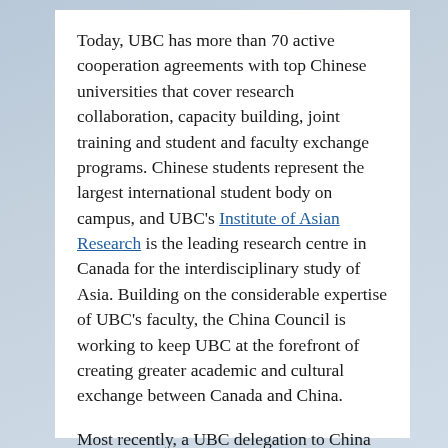Today, UBC has more than 70 active cooperation agreements with top Chinese universities that cover research collaboration, capacity building, joint training and student and faculty exchange programs. Chinese students represent the largest international student body on campus, and UBC's Institute of Asian Research is the leading research centre in Canada for the interdisciplinary study of Asia. Building on the considerable expertise of UBC's faculty, the China Council is working to keep UBC at the forefront of creating greater academic and cultural exchange between Canada and China.

Most recently, a UBC delegation to China in April 2015 resulted in the signing of an unprecedented number of partnerships with leading Chinese universities. And in 2013, the